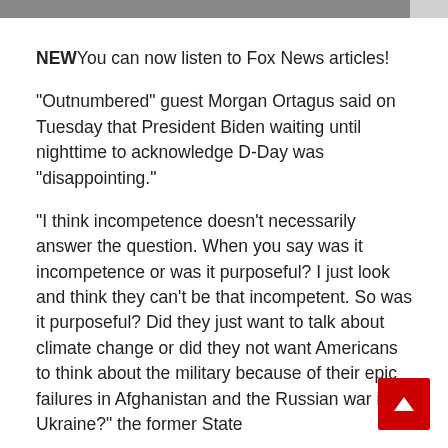[Figure (photo): Partial image strip at the top of the page, mostly gray with a lighter section on the right]
NEWYou can now listen to Fox News articles!
“Outnumbered” guest Morgan Ortagus said on Tuesday that President Biden waiting until nighttime to acknowledge D-Day was “disappointing.”
“I think incompetence doesn’t necessarily answer the question. When you say was it incompetence or was it purposeful? I just look and think they can’t be that incompetent. So was it purposeful? Did they just want to talk about climate change or did they not want Americans to think about the military because of their epic failures in Afghanistan and the Russian war in Ukraine?” the former State